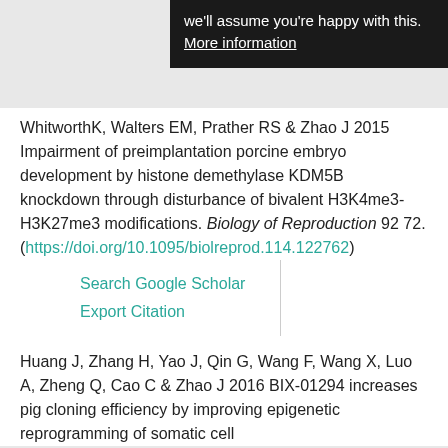we'll assume you're happy with this. More information
WhitworthK, Walters EM, Prather RS & Zhao J 2015 Impairment of preimplantation porcine embryo development by histone demethylase KDM5B knockdown through disturbance of bivalent H3K4me3-H3K27me3 modifications. Biology of Reproduction 92 72. (https://doi.org/10.1095/biolreprod.114.122762)
Search Google Scholar
Export Citation
Huang J, Zhang H, Yao J, Qin G, Wang F, Wang X, Luo A, Zheng Q, Cao C & Zhao J 2016 BIX-01294 increases pig cloning efficiency by improving epigenetic reprogramming of somatic cell